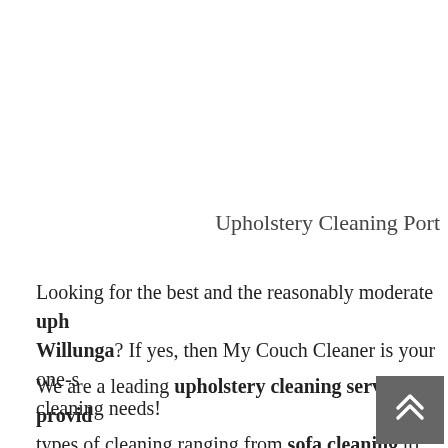Upholstery Cleaning Port
Looking for the best and the reasonably moderate uph Willunga? If yes, then My Couch Cleaner is your one-s cleaning needs!
We are a leading upholstery cleaning services provid types of cleaning ranging from sofa cleaning to couch cleaning.
[Figure (other): Back to top button — dark grey square with white double-chevron arrow pointing upward]